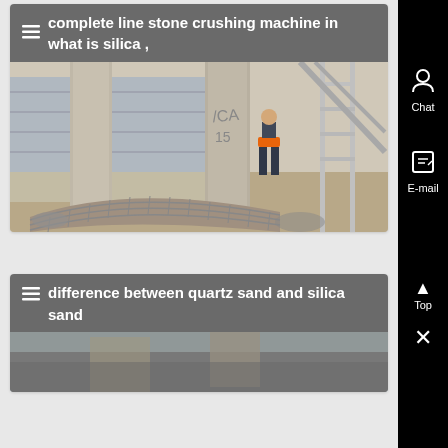≡ complete line stone crushing machine in what is silica ,
[Figure (photo): Construction site with concrete pillars, curved brick wall, a worker in orange vest, and metal scaffolding structure]
≡ difference between quartz sand and silica sand
[Figure (photo): Partial view of another construction or industrial site image at the bottom of the page]